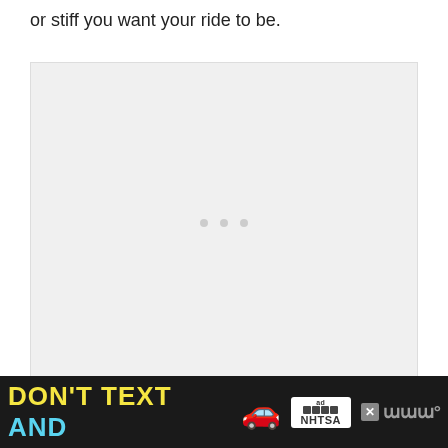or stiff you want your ride to be.
[Figure (photo): Large image placeholder with loading indicator dots, light gray background]
Perhaps the best feature these coilovers h... If
[Figure (other): Ad banner: DON'T TEXT AND [car emoji] with NHTSA logo and close button]